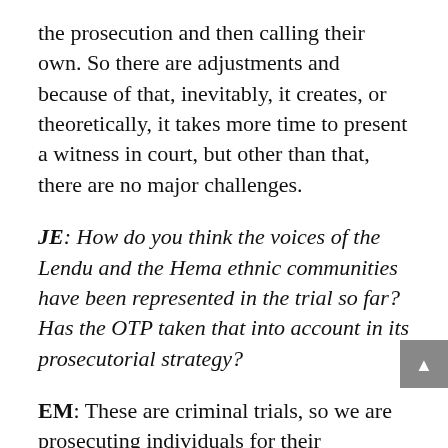the prosecution and then calling their own. So there are adjustments and because of that, inevitably, it creates, or theoretically, it takes more time to present a witness in court, but other than that, there are no major challenges.
JE: How do you think the voices of the Lendu and the Hema ethnic communities have been represented in the trial so far? Has the OTP taken that into account in its prosecutorial strategy?
EM: These are criminal trials, so we are prosecuting individuals for their responsibility in incidents or for crimes that fall under the Statute. The first case involves Mr. Lubanga who is a Hema north, and the second case